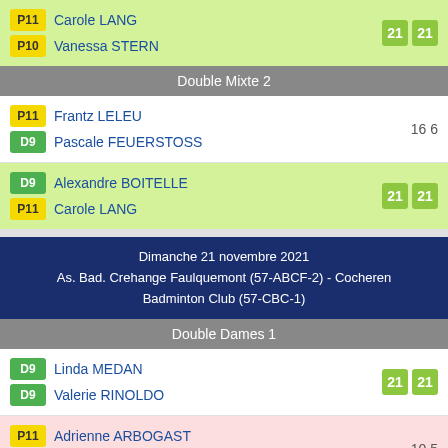| P11 | Carole LANG | 21 | 21 |
| P10 | Vanessa STERN |  |  |
Double Mixte 2
| P11 | Frantz LELEU | 16 | 6 |
| D9 | Pascale FEUERSTOSS |  |  |
| D9 | Alexandre BOITELLE | 21 | 21 |
| P11 | Carole LANG |  |  |
Dimanche 21 novembre 2021
As. Bad. Crehange Faulquemont (57-ABCF-2) - Cocheren Badminton Club (57-CBC-1)
Double Dames 1
| D9 | Linda MEDAN | 21 | 21 |
| D9 | Valerie RINOLDO |  |  |
| P11 | Adrienne ARBOGAST | 10 | 5 |
| P12 | Carole LANG |  |  |